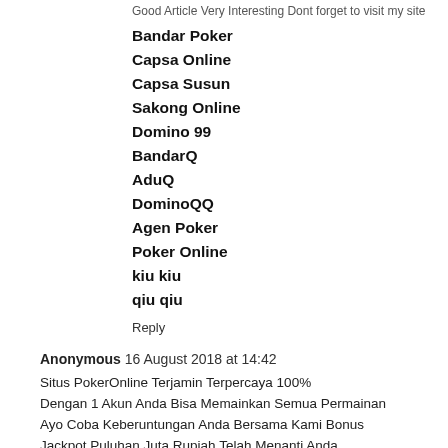Good Article Very Interesting Dont forget to visit my site
Bandar Poker
Capsa Online
Capsa Susun
Sakong Online
Domino 99
BandarQ
AduQ
DominoQQ
Agen Poker
Poker Online
kiu kiu
qiu qiu
Reply
Anonymous  16 August 2018 at 14:42
Situs PokerOnline Terjamin Terpercaya 100%
Dengan 1 Akun Anda Bisa Memainkan Semua Permainan
Ayo Coba Keberuntungan Anda Bersama Kami Bonus
Jackpot Puluhan Juta Rupiah Telah Menanti Anda
(WWW,KARTUSETAN,COM)(KOMA GANTI TITIK)